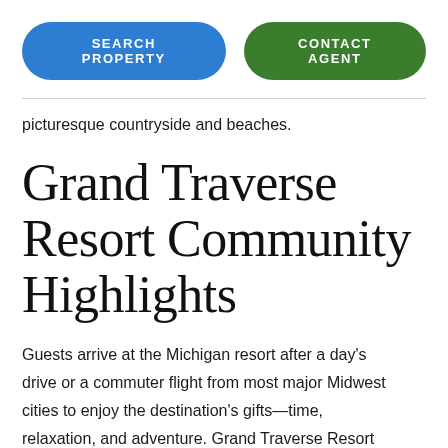SEARCH PROPERTY | CONTACT AGENT
picturesque countryside and beaches.
Grand Traverse Resort Community Highlights
Guests arrive at the Michigan resort after a day’s drive or a commuter flight from most major Midwest cities to enjoy the destination’s gifts—time, relaxation, and adventure. Grand Traverse Resort